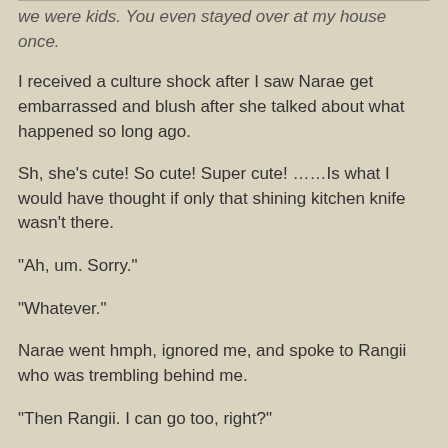we were kids. You even stayed over at my house once.
I received a culture shock after I saw Narae get embarrassed and blush after she talked about what happened so long ago.
Sh, she's cute! So cute! Super cute! ……Is what I would have thought if only that shining kitchen knife wasn't there.
“Ah, um. Sorry.”
“Whatever.”
Narae went hmph, ignored me, and spoke to Rangii who was trembling behind me.
“Then Rangii. I can go too, right?”
Rangii nodded her head hard and spoke.
“Yeah, yeah. You can!”
“Thank goodness. Because when you’re playing, the more